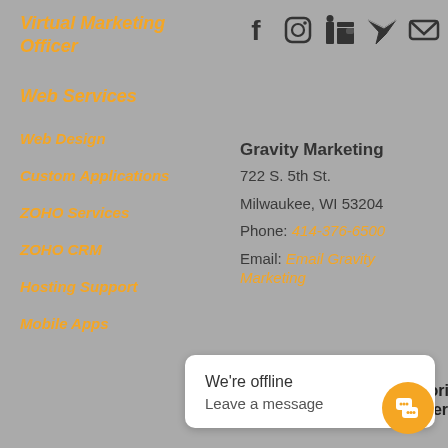Virtual Marketing Officer
[Figure (infographic): Social media icons: Facebook, Instagram, LinkedIn, Twitter, Email]
Web Services
Web Design
Custom Applications
ZOHO Services
ZOHO CRM
Hosting Support
Mobile Apps
Gravity Marketing
722 S. 5th St.
Milwaukee, WI 53204
Phone: 414-376-6500
Email: Email Gravity Marketing
[Figure (logo): ZOHO Authorized Partner badge]
We're offline
Leave a message